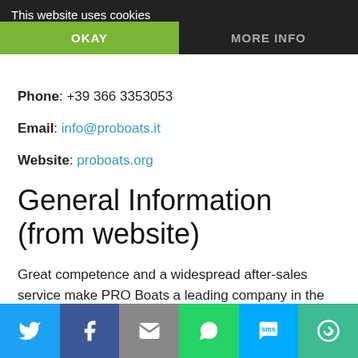This website uses cookies
OKAY | MORE INFO
Phone: +39 366 3353053
Email: info@proboats.it
Website: proboats.org
General Information (from website)
Great competence and a widespread after-sales service make PRO Boats a leading company in the sale of fishing boats in inland waters and related equipment and with the acquisition of the MAKO Brand we will also expand into the Salt Water market, the market in which we are already
[Figure (other): Social share bar with icons for Twitter, Facebook, Email, WhatsApp, SMS, and a circular arrow/share button]